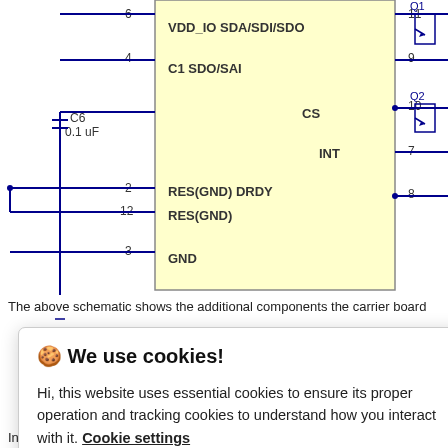[Figure (circuit-diagram): Electronic schematic showing an IC with pins labeled VDD_IO, SDA/SDI/SDO, CI, SDO/SAI, CS, INT, RES(GND), DRDY, GND with pin numbers 6,4,2,12,3 on left and 11,9,10,7,8 on right. Additional components Q1, Q2 (transistors), and capacitor C6 0.1uF shown with connecting wires.]
The above schematic shows the additional components the carrier board
🍪 We use cookies!
Hi, this website uses essential cookies to ensure its proper operation and tracking cookies to understand how you interact with it. Cookie settings
Accept all
Reject all
In I²C mode, the sensor's 7-bit slave address has its second-least significant